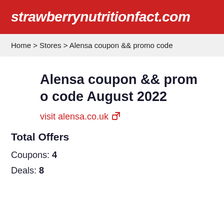strawberrynutritionfact.com
Home > Stores > Alensa coupon && promo code
Alensa coupon && promo code August 2022
visit alensa.co.uk
Total Offers
Coupons: 4
Deals: 8